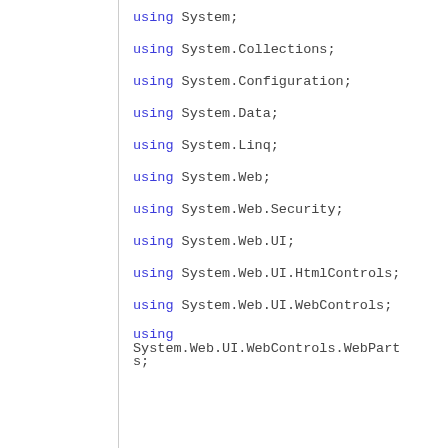using System;
using System.Collections;
using System.Configuration;
using System.Data;
using System.Linq;
using System.Web;
using System.Web.Security;
using System.Web.UI;
using System.Web.UI.HtmlControls;
using System.Web.UI.WebControls;
using System.Web.UI.WebControls.WebParts;